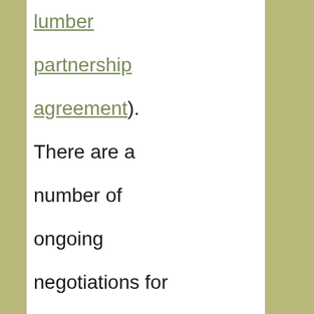lumber partnership agreement). There are a number of ongoing negotiations for modernization of the agreement. CARICOM Among the Costa Rican free trade agreements that govern relations between itself